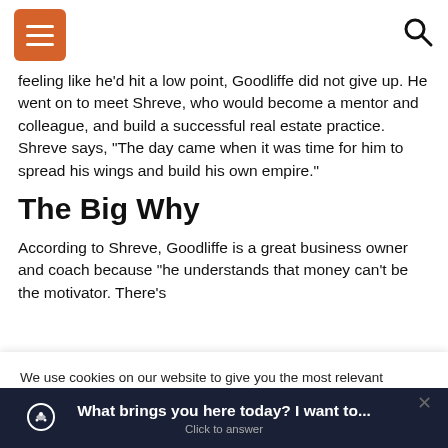[navigation bar with menu and search icons]
feeling like he'd hit a low point, Goodliffe did not give up. He went on to meet Shreve, who would become a mentor and colleague, and build a successful real estate practice. Shreve says, "The day came when it was time for him to spread his wings and build his own empire."
The Big Why
According to Shreve, Goodliffe is a great business owner and coach because "he understands that money can't be the motivator. There's
We use cookies on our website to give you the most relevant experience by remembering your preferences and repeat visits. By clicking "Accept All", you consent to the use of ALL the cookies. However, you may visit "Cookie s" to provide a controlled consent.
What brings you here today? I want to...
Click to answer